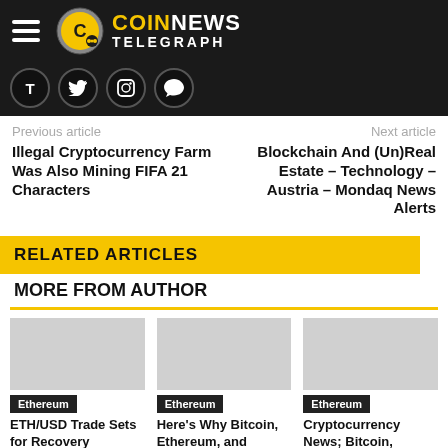COIN NEWS TELEGRAPH
Previous article | Next article
Illegal Cryptocurrency Farm Was Also Mining FIFA 21 Characters
Blockchain And (Un)Real Estate – Technology – Austria – Mondaq News Alerts
RELATED ARTICLES
MORE FROM AUTHOR
Ethereum
ETH/USD Trade Sets for Recovery
Ethereum
Here's Why Bitcoin, Ethereum, and Dogecoin Crashed Today
Ethereum
Cryptocurrency News; Bitcoin, Ethereum Gains, Dogecoin Surges11%